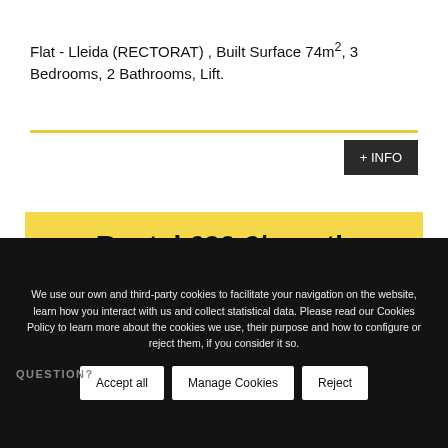Flat - Lleida (RECTORAT) , Built Surface 74m², 3 Bedrooms, 2 Bathrooms, Lift.
+ INFO
Rental 690 €/month
We use our own and third-party cookies to facilitate your navigation on the website, learn how you interact with us and collect statistical data. Please read our Cookies Policy to learn more about the cookies we use, their purpose and how to configure or reject them, if you consider it so.
QUESTION?